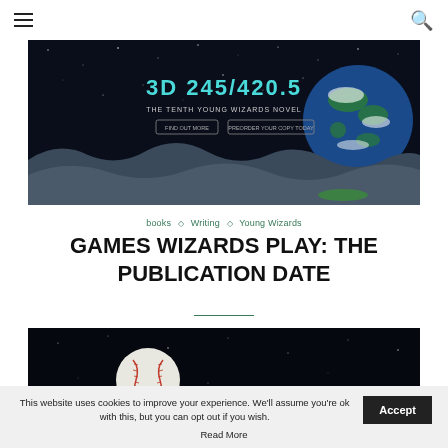☰  🔍
[Figure (photo): Space/moon landscape scene with Earth visible, featuring cyan text overlay reading '3D 245/420.5' and subtitle text about 'Young Wizards', with two button overlays on dark starfield background]
books ◇ Writing ◇ Young Wizards
GAMES WIZARDS PLAY: THE PUBLICATION DATE
[Figure (photo): Baseball floating in space against dark starfield background]
This website uses cookies to improve your experience. We'll assume you're ok with this, but you can opt out if you wish. Accept Read More